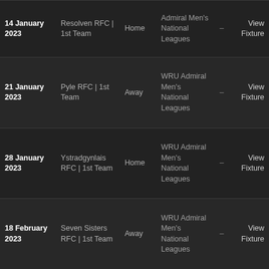| Date | Team | Venue | League |  | Link |
| --- | --- | --- | --- | --- | --- |
| 14 January 2023 | Resolven RFC | 1st Team | Home | Admiral Men's National Leagues | – | View Fixture |
| 21 January 2023 | Pyle RFC | 1st Team | Away | WRU Admiral Men's National Leagues | – | View Fixture |
| 28 January 2023 | Ystradgynlais RFC | 1st Team | Home | WRU Admiral Men's National Leagues | – | View Fixture |
| 18 February 2023 | Seven Sisters RFC | 1st Team | Away | WRU Admiral Men's National Leagues | – | View Fixture |